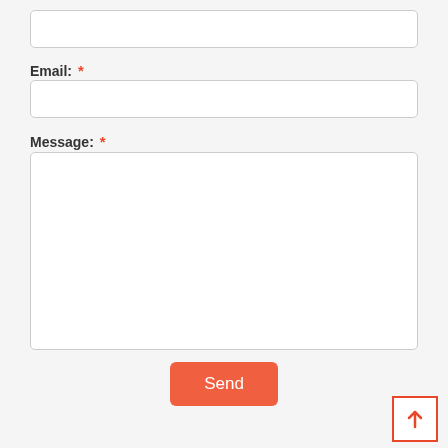[Figure (screenshot): Contact form screenshot showing a top text input field (partially visible), Email label with red asterisk, Email input box, Message label with red asterisk, large Message textarea, Send button in orange, and a scroll-to-top button with orange upward arrow in bottom right corner.]